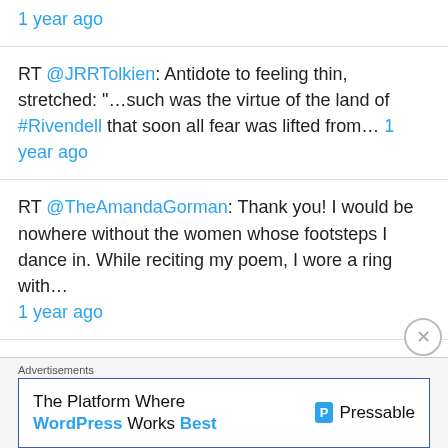1 year ago
RT @JRRTolkien: Antidote to feeling thin, stretched: "...such was the virtue of the land of #Rivendell that soon all fear was lifted from... 1 year ago
RT @TheAmandaGorman: Thank you! I would be nowhere without the women whose footsteps I dance in. While reciting my poem, I wore a ring with... 1 year ago
RT @BreneBrown: “We lead not by the example of our power but by the power of our example.” President Joe Biden #inauguration2021 @POTUS 1
Advertisements
The Platform Where WordPress Works Best — Pressable